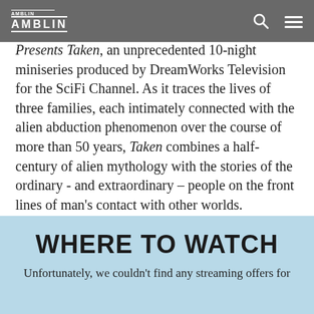AMBLIN
Presents Taken, an unprecedented 10-night miniseries produced by DreamWorks Television for the SciFi Channel. As it traces the lives of three families, each intimately connected with the alien abduction phenomenon over the course of more than 50 years, Taken combines a half-century of alien mythology with the stories of the ordinary - and extraordinary – people on the front lines of man's contact with other worlds.
WHERE TO WATCH
Unfortunately, we couldn't find any streaming offers for